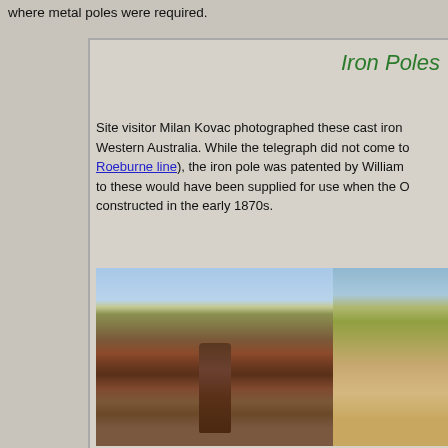where metal poles were required.
Iron Poles
Site visitor Milan Kovac photographed these cast iron Western Australia. While the telegraph did not come to Roeburne line), the iron pole was patented by William to these would have been supplied for use when the O constructed in the early 1870s.
[Figure (photo): Photograph of a cast iron telegraph pole standing in red dirt ground with green grass and blue sky in background, Western Australia. The pole has text/markings cast into it.]
[Figure (photo): Partial photograph of a second iron pole in a similar outback Western Australian setting.]